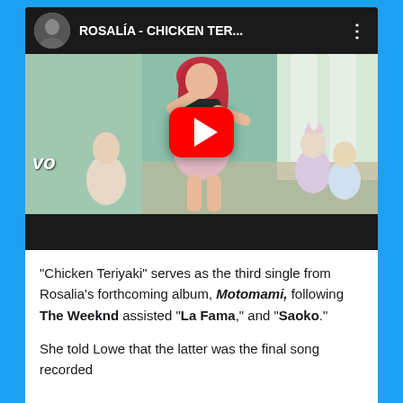[Figure (screenshot): YouTube video thumbnail showing ROSALÍA - CHICKEN TER... video with a dancer (Rosalía) in a pink outfit with red hair, surrounded by other dancers in a room. YouTube play button overlay visible. Vevo logo in bottom left of thumbnail.]
“Chicken Teriyaki” serves as the third single from Rosalia’s forthcoming album, Motomami, following The Weeknd assisted “La Fama,” and “Saoko.”
She told Lowe that the latter was the final song recorded